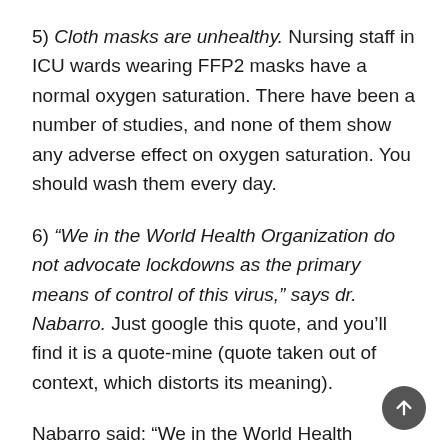5) Cloth masks are unhealthy. Nursing staff in ICU wards wearing FFP2 masks have a normal oxygen saturation. There have been a number of studies, and none of them show any adverse effect on oxygen saturation. You should wash them every day.
6) "We in the World Health Organization do not advocate lockdowns as the primary means of control of this virus," says dr. Nabarro. Just google this quote, and you'll find it is a quote-mine (quote taken out of context, which distorts its meaning).
Nabarro said: “We in the World Health Organization do not advocate lockdowns as the primary means of control of this virus. The only time we believe a lockdown is justified is to buy you time to reorganise...